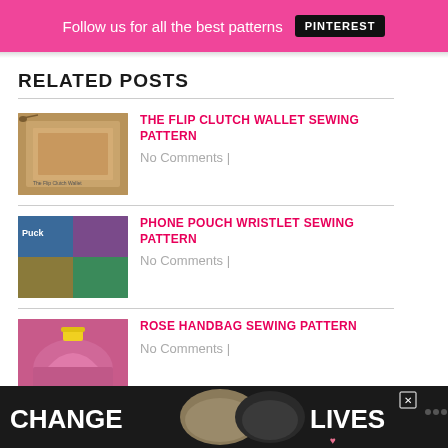Follow us for all the best patterns PINTEREST
RELATED POSTS
[Figure (photo): Thumbnail of flip clutch wallet]
THE FLIP CLUTCH WALLET SEWING PATTERN
No Comments |
[Figure (photo): Thumbnail of phone pouch wristlet]
PHONE POUCH WRISTLET SEWING PATTERN
No Comments |
[Figure (photo): Thumbnail of rose handbag]
ROSE HANDBAG SEWING PATTERN
No Comments |
[Figure (photo): Thumbnail of easy felt wallet]
EASY FELT WALLET SEWING PATTERN
No Comments |
[Figure (photo): Change Lives advertisement banner with cat image]